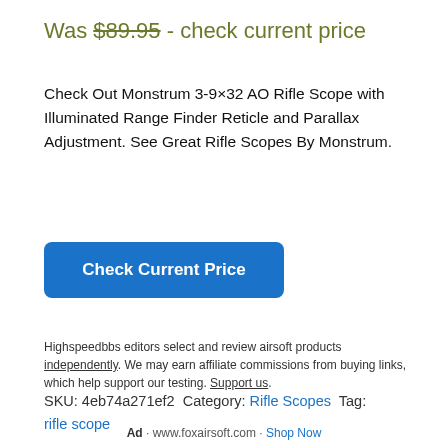Was $89.95 - check current price
Check Out Monstrum 3-9×32 AO Rifle Scope with Illuminated Range Finder Reticle and Parallax Adjustment. See Great Rifle Scopes By Monstrum.
Check Current Price
Highspeedbbs editors select and review airsoft products independently. We may earn affiliate commissions from buying links, which help support our testing. Support us.
SKU: 4eb74a271ef2 Category: Rifle Scopes Tag: rifle scope
Ad · www.foxairsoft.com · Shop Now